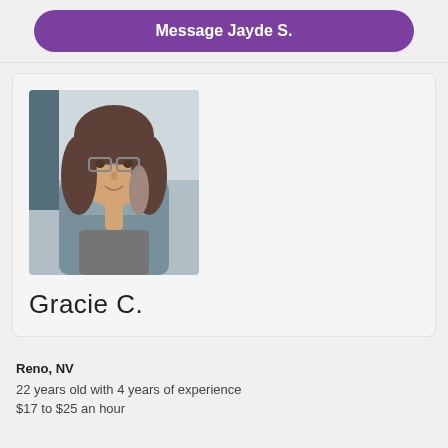Message Jayde S.
[Figure (photo): Profile photo of Gracie C., a young woman with glasses and shoulder-length brown hair highlighted blonde, sitting in a car, wearing a gray top. She is smiling at the camera.]
Gracie C.
Reno, NV
22 years old with 4 years of experience
$17 to $25 an hour